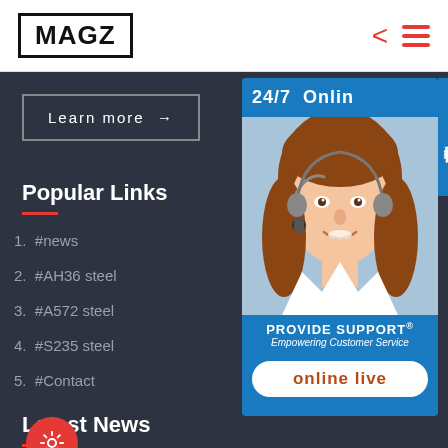MAGZ
Learn more →
Popular Links
1. #news
2. #AH36 steel
3. #A572 steel
4. #S235 steel
5. #Contact
Latest News
1. #Alloy Steel Plate
[Figure (illustration): 24/7 Online support widget with a customer service representative photo, PROVIDE SUPPORT® branding, Empowering Customer Service tagline, and 'online live' button. Chinese tab on right side reads 在线咨询 (online consultation).]